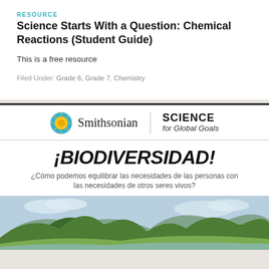RESOURCE
Science Starts With a Question: Chemical Reactions (Student Guide)
This is a free resource
Filed Under: Grade 6, Grade 7, Chemistry
[Figure (logo): Smithsonian | Science for Global Goals logo with sun icon]
¡BIODIVERSIDAD!
¿Cómo podemos equilibrar las necesidades de las personas con las necesidades de otros seres vivos?
[Figure (photo): Aerial or landscape photo of a tropical mountainous island with green vegetation and ocean/beach visible]